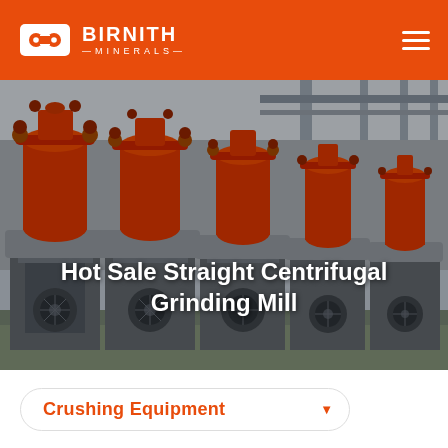BIRNITH MINERALS
[Figure (photo): Industrial factory floor showing a row of red centrifugal grinding mill machines mounted on grey metal frames, photographed in a large manufacturing facility with overhead cranes and ceiling structures visible.]
Hot Sale Straight Centrifugal Grinding Mill
Crushing Equipment